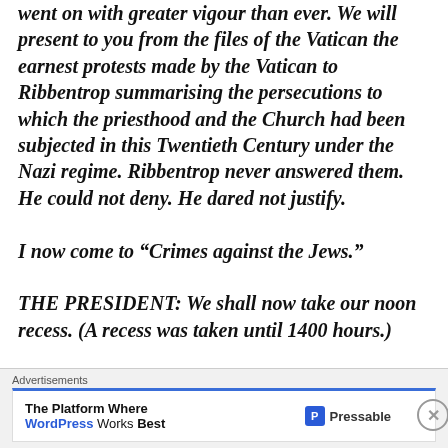went on with greater vigour than ever. We will present to you from the files of the Vatican the earnest protests made by the Vatican to Ribbentrop summarising the persecutions to which the priesthood and the Church had been subjected in this Twentieth Century under the Nazi regime. Ribbentrop never answered them. He could not deny. He dared not justify.

I now come to “Crimes against the Jews.”

THE PRESIDENT: We shall now take our noon recess. (A recess was taken until 1400 hours.)

THE PRESIDENT: The Tribunal will adjourn for fifteen
[Figure (other): Advertisement banner: 'Advertisements' label above a white box with blue top border. Text: 'The Platform Where WordPress Works Best' with Pressable branding logo on the right. A close/dismiss button (circled X) appears to the right of the ad area.]